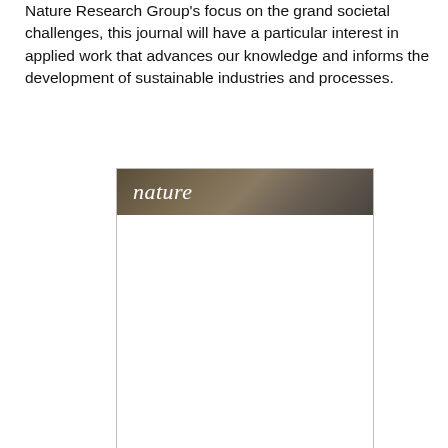Nature Research Group's focus on the grand societal challenges, this journal will have a particular interest in applied work that advances our knowledge and informs the development of sustainable industries and processes.
[Figure (screenshot): A Nature journal cover image showing the word 'nature' in italic serif white font on a dark brownish background with what appears to be a technology-related photographic image. The lower portion of the image is white/blank.]